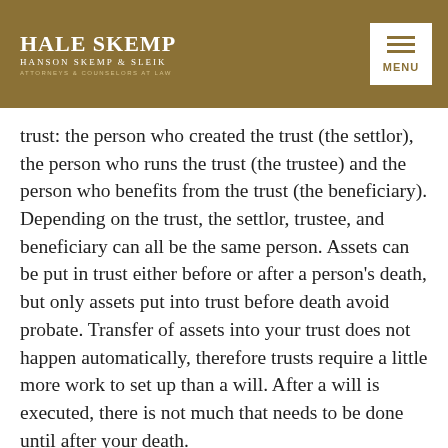Hale Skemp | Hanson Skemp & Sleik | Attorneys & Counselors at Law
trust: the person who created the trust (the settlor), the person who runs the trust (the trustee) and the person who benefits from the trust (the beneficiary). Depending on the trust, the settlor, trustee, and beneficiary can all be the same person. Assets can be put in trust either before or after a person's death, but only assets put into trust before death avoid probate. Transfer of assets into your trust does not happen automatically, therefore trusts require a little more work to set up than a will. After a will is executed, there is not much that needs to be done until after your death.